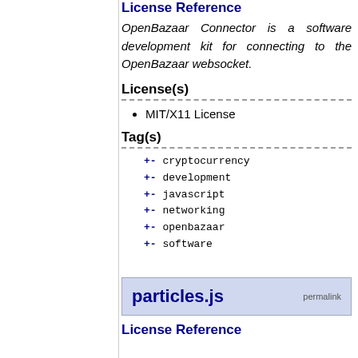License Reference
OpenBazaar Connector is a software development kit for connecting to the OpenBazaar websocket.
License(s)
MIT/X11 License
Tag(s)
+- cryptocurrency
+- development
+- javascript
+- networking
+- openbazaar
+- software
particles.js  permalink
License Reference